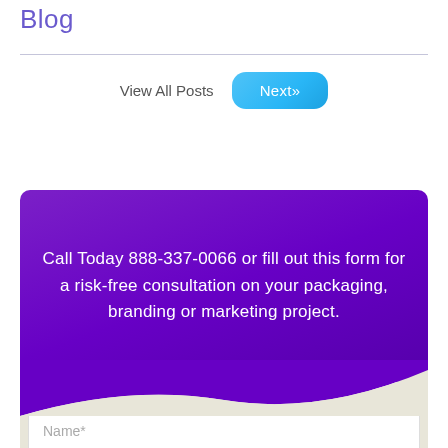Blog
View All Posts
Next»
Call Today 888-337-0066 or fill out this form for a risk-free consultation on your packaging, branding or marketing project.
Name*
Email*